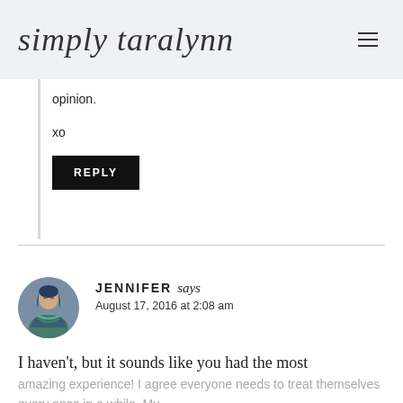simply taralynn
opinion.
xo
REPLY
JENNIFER says
August 17, 2016 at 2:08 am
I haven't, but it sounds like you had the most amazing experience! I agree everyone needs to treat themselves every once in a while. My